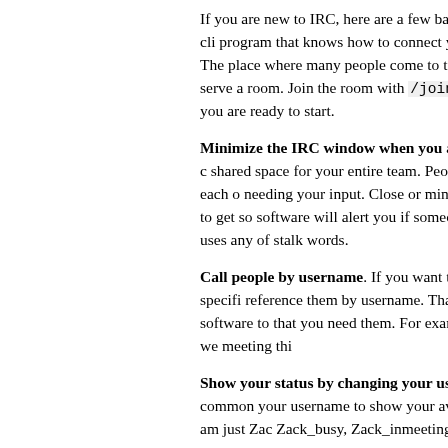If you are new to IRC, here are a few basics. You need an IRC cli program that knows how to connect you with an IRC server. The place where many people come to talk. Once you get to the serve a room. Join the room with /join #some_room. Once you are ready to start.
Minimize the IRC window when you aren't using it. An IRC c shared space for your entire team. People will be talking to each o needing your input. Close or minimize the IRC window to get so software will alert you if someone says your name or uses any of stalk words.
Call people by username. If you want to talk to someone specifi reference them by username. That will cause the chat software to that you need them. For example, "Hey Zack, are we meeting thi
Show your status by changing your username. It is a common your username to show your availability. Normally I am just Zac Zack_busy, Zack_inmeeting, and Zack_lunch.
Separate different work groups into different rooms. IRC supp of rooms or channels. Rooms are a way to separate conversations more manageable. Keep the rooms small. Even five or six active overwhelm a room. A common pattern is to have a general room somebody's attention and then private rooms where you can hold